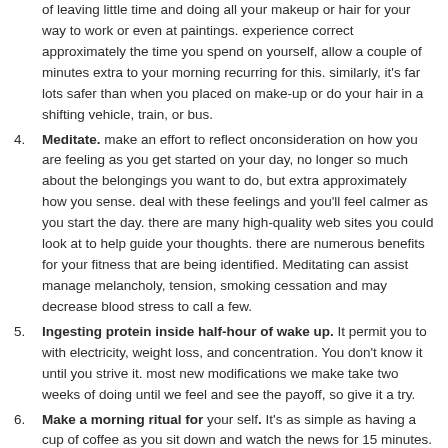(continuation) of leaving little time and doing all your makeup or hair for your way to work or even at paintings. experience correct approximately the time you spend on yourself, allow a couple of minutes extra to your morning recurring for this. similarly, it's far lots safer than when you placed on make-up or do your hair in a shifting vehicle, train, or bus.
4. Meditate. make an effort to reflect onconsideration on how you are feeling as you get started on your day, no longer so much about the belongings you want to do, but extra approximately how you sense. deal with these feelings and you'll feel calmer as you start the day. there are many high-quality web sites you could look at to help guide your thoughts. there are numerous benefits for your fitness that are being identified. Meditating can assist manage melancholy, tension, smoking cessation and may decrease blood stress to call a few.
5. Ingesting protein inside half-hour of wake up. It permit you to with electricity, weight loss, and concentration. You don't know it until you strive it. most new modifications we make take two weeks of doing until we feel and see the payoff, so give it a try.
6. Make a morning ritual for your self. It's as simple as having a cup of coffee as you sit down and watch the news for 15 minutes.